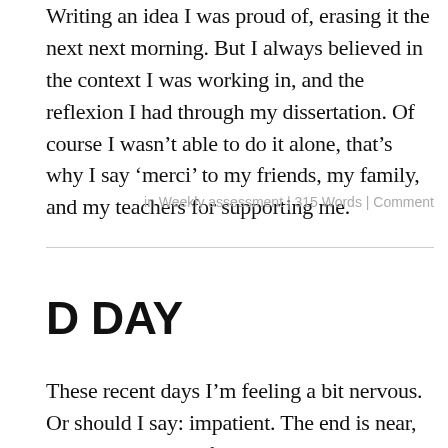Writing an idea I was proud of, erasing it the next next morning. But I always believed in the context I was working in, and the reflexion I had through my dissertation. Of course I wasn't able to do it alone, that's why I say 'merci' to my friends, my family, and my teachers for supporting me.
in Weekly assessment | 315 Words | Comment
D DAY
These recent days I'm feeling a bit nervous. Or should I say: impatient. The end is near, just some couple of days on my planning to finish everything. This is the period where you need to rely on your last forces because you